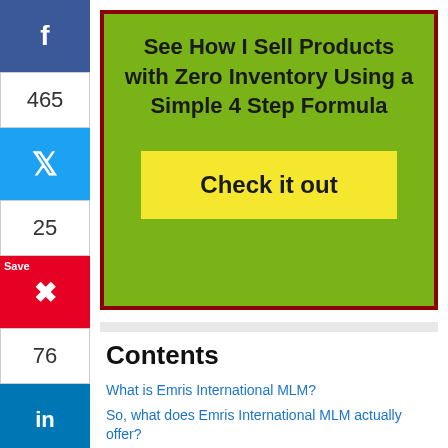[Figure (infographic): Green banner ad with dark red border. Title: 'See How I Sell Products with Zero Inventory Using a Simple 4 Step Formula'. Yellow call-to-action button: 'Check it out'.]
f 465
Twitter 25
Pinterest 76
in 3
Contents
What is Emris International MLM?
So, what does Emris International MLM actually offer?
What are the Emris International MLM Products
Are Emris International MLM Products worth the Price?
Escape the MLM Rat Race